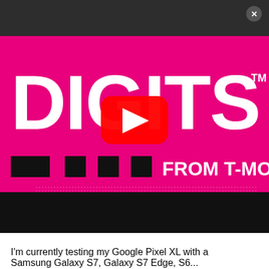[Figure (screenshot): A YouTube video thumbnail showing 'DIGITS from T-Mobile' branding on a bright magenta/pink background with large white bold text reading 'DIGITS' and 'FROM T-MOBI' (cropped), with black rectangular blocks in a row, and a red YouTube play button overlay in the center. The top has a dark gray/charcoal bar with a close (X) button in the top right corner. The bottom portion of the thumbnail is black.]
I'm currently testing my Google Pixel XL with a Samsung Galaxy S7, Galaxy S7 Edge, S6...